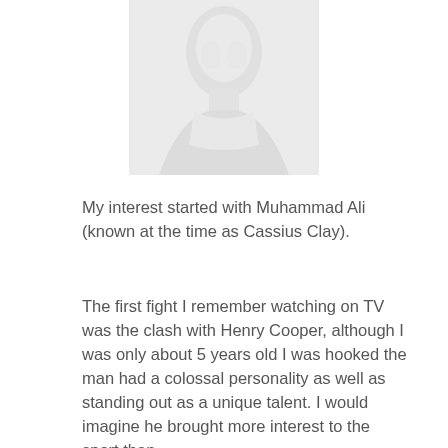[Figure (photo): A faded, light grayscale portrait photo of a person (Muhammad Ali / Cassius Clay), showing head and upper body, light tones nearly washed out.]
My interest started with Muhammad Ali (known at the time as Cassius Clay).
The first fight I remember watching on TV was the clash with Henry Cooper, although I was only about 5 years old I was hooked the man had a colossal personality as well as standing out as a unique talent. I would imagine he brought more interest to the sport than